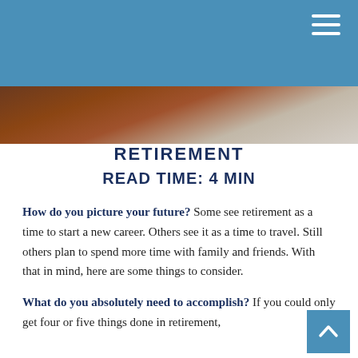RETIREMENT
[Figure (photo): Photo strip showing a wooden surface and light background, partially cropped]
RETIREMENT
READ TIME: 4 MIN
How do you picture your future? Some see retirement as a time to start a new career. Others see it as a time to travel. Still others plan to spend more time with family and friends. With that in mind, here are some things to consider.
What do you absolutely need to accomplish? If you could only get four or five things done in retirement,